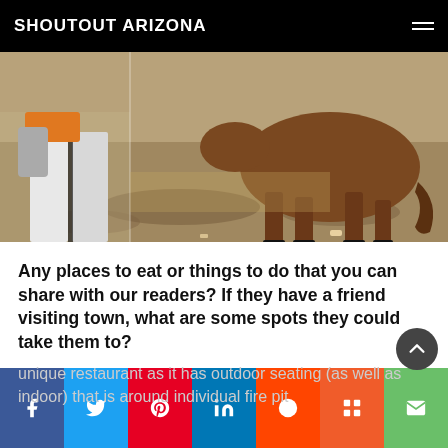SHOUTOUT ARIZONA
[Figure (photo): Outdoor scene showing a person in white pants and a horse standing on sandy ground in bright sunlight]
Any places to eat or things to do that you can share with our readers? If they have a friend visiting town, what are some spots they could take them to?
First I would take my friend to the restaurant San Tan Flats in Queen Creek, AZ. This is a unique restaurant as it has outdoor seating (as well as indoor) that is around individual fire pit
f  twitter  p  in  reddit  mix  mail